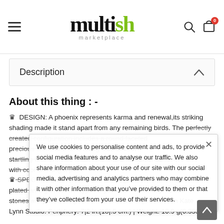multish marketplace — navigation header with hamburger menu, logo, search and cart icons
Description
About this thing : -
♛ DESIGN: A phoenix represents karma and renewal,its striking shading made it stand apart from any remaining birds. The perfectly created configuration includes a round faceted precious stone and runs along a column of startling this. We also share information ornamental look with cool and bright plan.
♛ SPECIFICATION: Metal sort: Eco agreeable and rhodium plated amalgam. Jewel type: Crystal from Austria, precious stones are provided by Austria, planned and produced in Kate Lynn Studio. Periphery: 7|2 in.(18|.5 cm.) | Weight: 10.9 g(0.353
We use cookies to personalise content and ads, to provide social media features and to analyse our traffic. We also share information about your use of our site with our social media, advertising and analytics partners who may combine it with other information that you've provided to them or that they've collected from your use of their services.